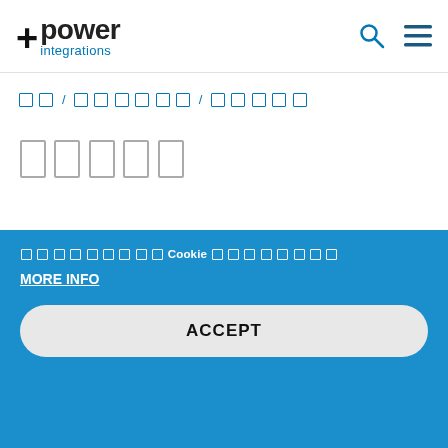+power integrations [search icon] [menu icon]
[breadcrumb: home / category / subcategory] (rendered as placeholder characters)
[5 placeholder characters representing page title]
[Figure (screenshot): Light gray content area box partially visible]
[Thai/non-Latin text] Cookie [Thai/non-Latin text]
MORE INFO
ACCEPT